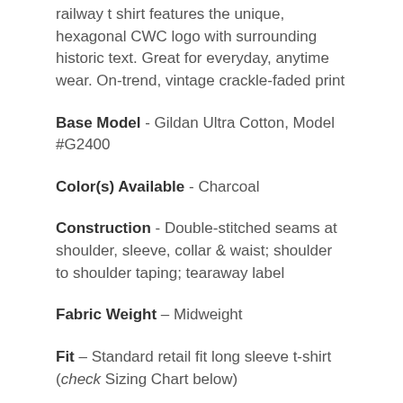railway t shirt features the unique, hexagonal CWC logo with surrounding historic text. Great for everyday, anytime wear. On-trend, vintage crackle-faded print
Base Model - Gildan Ultra Cotton, Model #G2400
Color(s) Available - Charcoal
Construction - Double-stitched seams at shoulder, sleeve, collar & waist; shoulder to shoulder taping; tearaway label
Fabric Weight – Midweight
Fit – Standard retail fit long sleeve t-shirt (check Sizing Chart below)